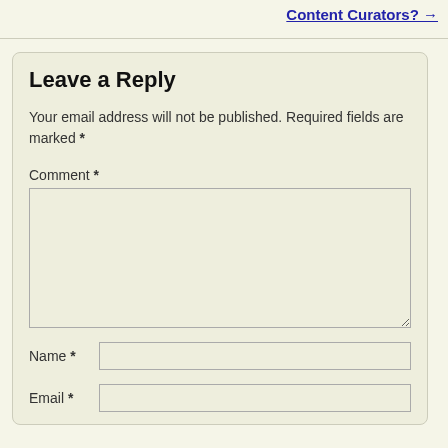Content Curators? →
Leave a Reply
Your email address will not be published. Required fields are marked *
Comment *
Name *
Email *